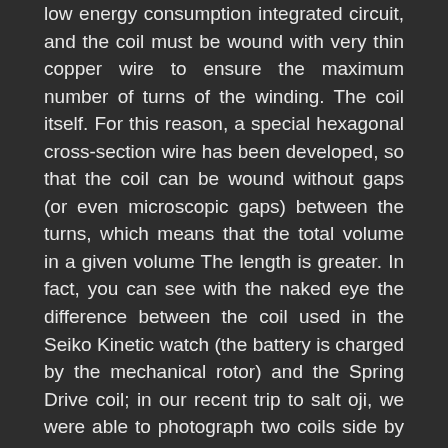low energy consumption integrated circuit, and the coil must be wound with very thin copper wire to ensure the maximum number of turns of the winding. The coil itself. For this reason, a special hexagonal cross-section wire has been developed, so that the coil can be wound without gaps (or even microscopic gaps) between the turns, which means that the total volume in a given volume The length is greater. In fact, you can see with the naked eye the difference between the coil used in the Seiko Kinetic watch (the battery is charged by the mechanical rotor) and the Spring Drive coil; in our recent trip to salt oji, we were able to photograph two coils side by side.
Very little electricity is generated. One way of visualization is to imagine everyone on the planet wearing a Grand Seiko Spring Drive watch. If this is the case, the electricity generated is only enough to light a 100-watt light bulb. In order to have an acceptable power reserve, the entire system must work very efficiently, which is why it is